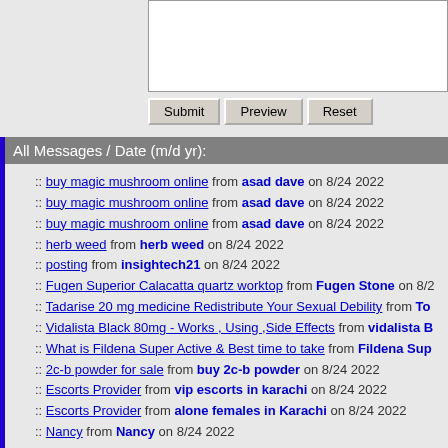[Figure (screenshot): Textarea input box (white, bordered)]
Submit | Preview | Reset buttons
All Messages / Date (m/d yr):
buy magic mushroom online from asad dave on 8/24 2022
buy magic mushroom online from asad dave on 8/24 2022
buy magic mushroom online from asad dave on 8/24 2022
herb weed from herb weed on 8/24 2022
posting from insightech21 on 8/24 2022
Fugen Superior Calacatta quartz worktop from Fugen Stone on 8/2
Tadarise 20 mg medicine Redistribute Your Sexual Debility from To
Vidalista Black 80mg - Works , Using ,Side Effects from vidalista B
What is Fildena Super Active & Best time to take from Fildena Sup
2c-b powder for sale from buy 2c-b powder on 8/24 2022
Escorts Provider from vip escorts in karachi on 8/24 2022
Escorts Provider from alone females in Karachi on 8/24 2022
Nancy from Nancy on 8/24 2022
Pune Escorts Service from Pune Escorts on 8/24 2022
Nancy from Nancy on 8/24 2022
Jhonny from Jhonny on 8/24 2022
Katherine from Katherine on 8/24 2022
Gretel from Gretel on 8/24 2022
Alexendar from Alexendar on 8/24 2022
Julia from Julia on 8/24 2022
Honsol from Honsol on 8/24 2022